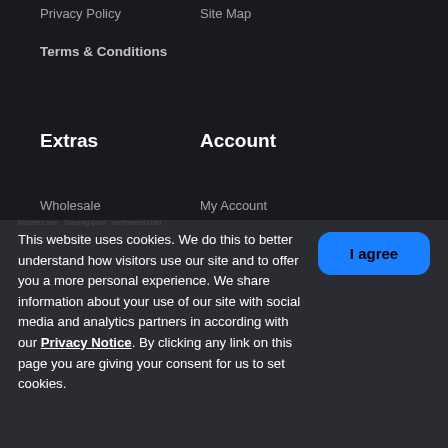Privacy Policy
Site Map
Terms & Conditions
Extras
Account
Wholesale
My Account
Register
Order History
Wish List
This website uses cookies. We do this to better understand how visitors use our site and to offer you a more personal experience. We share information about your use of our site with social media and analytics partners in according with our Privacy Notice. By clicking any link on this page you are giving your consent for us to set cookies.